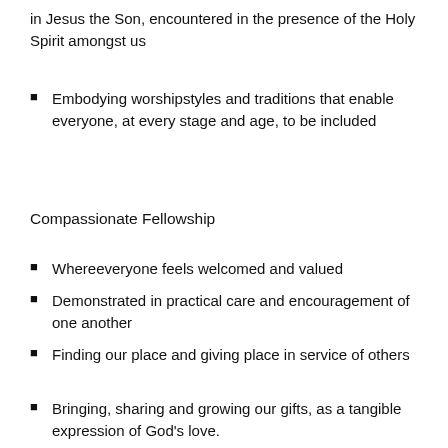in Jesus the Son, encountered in the presence of the Holy Spirit amongst us
Embodying worshipstyles and traditions that enable everyone, at every stage and age, to be included
Compassionate Fellowship
Whereeveryone feels welcomed and valued
Demonstrated in practical care and encouragement of one another
Finding our place and giving place in service of others
Bringing, sharing and growing our gifts, as a tangible expression of God's love.